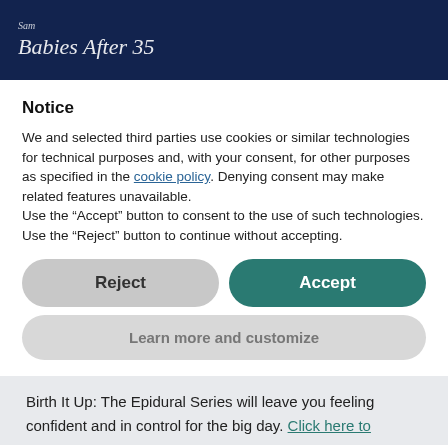Babies After 35
Notice
We and selected third parties use cookies or similar technologies for technical purposes and, with your consent, for other purposes as specified in the cookie policy. Denying consent may make related features unavailable.
Use the “Accept” button to consent to the use of such technologies. Use the “Reject” button to continue without accepting.
Reject | Accept
Learn more and customize
Birth It Up: The Epidural Series will leave you feeling confident and in control for the big day. Click here to